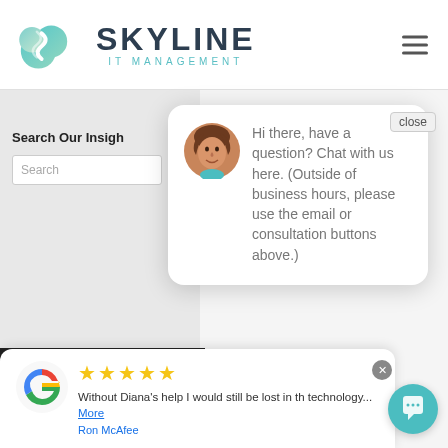[Figure (logo): Skyline IT Management logo with teal cloud icon and company name]
Search Our Insigh
Search
[Figure (screenshot): Chat popup card with avatar photo: Hi there, have a question? Chat with us here. (Outside of business hours, please use the email or consultation buttons above.)]
Hi there, have a question? Chat with us here. (Outside of business hours, please use the email or consultation buttons above.)
close
[Figure (screenshot): Google review card with 5 stars, review text and reviewer name Ron McAfee]
Without Diana's help I would still be lost in th technology... More
Ron McAfee